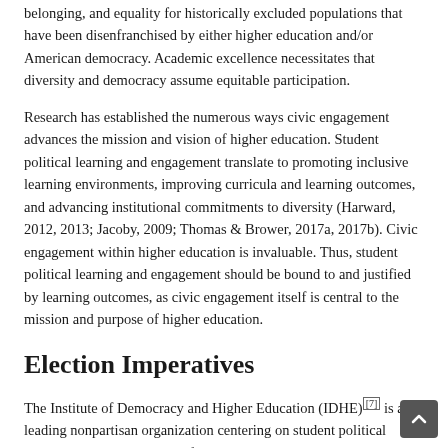belonging, and equality for historically excluded populations that have been disenfranchised by either higher education and/or American democracy. Academic excellence necessitates that diversity and democracy assume equitable participation.
Research has established the numerous ways civic engagement advances the mission and vision of higher education. Student political learning and engagement translate to promoting inclusive learning environments, improving curricula and learning outcomes, and advancing institutional commitments to diversity (Harward, 2012, 2013; Jacoby, 2009; Thomas & Brower, 2017a, 2017b). Civic engagement within higher education is invaluable. Thus, student political learning and engagement should be bound to and justified by learning outcomes, as civic engagement itself is central to the mission and purpose of higher education.
Election Imperatives
The Institute of Democracy and Higher Education (IDHE)[7] is a leading nonpartisan organization centering on student political learning and engagement. Informed by research on college student voting and the campus climates of highly political institutions, IDHE released Election Imperatives (2018) as a call to action for college and